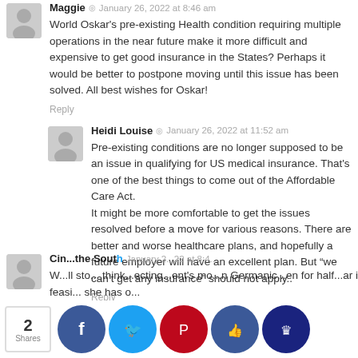Maggie · January 26, 2022 at 8:46 am
World Oskar's pre-existing Health condition requiring multiple operations in the near future make it more difficult and expensive to get good insurance in the States? Perhaps it would be better to postpone moving until this issue has been solved. All best wishes for Oskar!
Reply
Heidi Louise · January 26, 2022 at 11:52 am
Pre-existing conditions are no longer supposed to be an issue in qualifying for US medical insurance. That's one of the best things to come out of the Affordable Care Act.
It might be more comfortable to get the issues resolved before a move for various reasons. There are better and worse healthcare plans, and hopefully a future employer will have an excellent plan. But "we can't get any insurance" should not apply..
Reply
Cin...the South · January 2...22 at 8:46...
W...ll sto... think...ecting...ent's mo...n Germanic...en for half...ar is feasi... she has o...
[Figure (infographic): Social share bar with 2 Shares count and icons for Facebook, Twitter, Pinterest, Like, and Crown buttons]